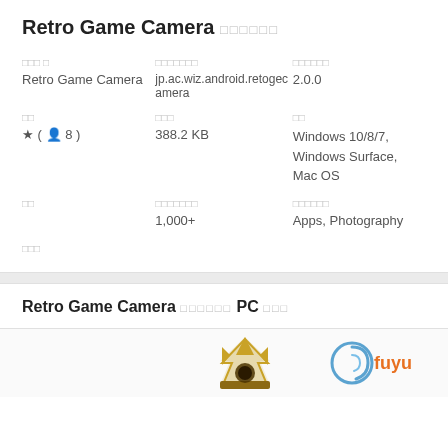Retro Game Camera □□□□□□
アプリ名: Retro Game Camera | パッケージ名: jp.ac.wiz.android.retogecamera | バージョン: 2.0.0
評価: ★(👤8) | ファイル容量: 388.2 KB | 対応OS: Windows 10/8/7, Windows Surface, Mac OS
価格: | ダウンロード数: 1,000+ | カテゴリ: Apps, Photography
開発者
Retro Game Camera □□□□□□ PC □□□
[Figure (logo): Crown logo icon (gold/brown) and Fuyu logo (blue swirl with orange text 'fuyu')]